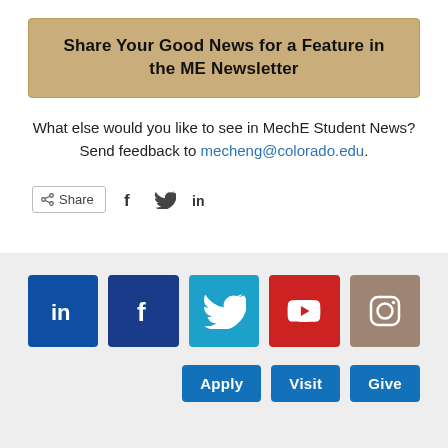Share Your Good News for a Feature in the ME Newsletter
What else would you like to see in MechE Student News? Send feedback to mecheng@colorado.edu.
[Figure (infographic): Share bar with share button and social icons for Facebook, Twitter, LinkedIn]
[Figure (infographic): Footer with social media icons: LinkedIn, Facebook, Twitter, YouTube, Instagram, and CTA buttons: Apply, Visit, Give]